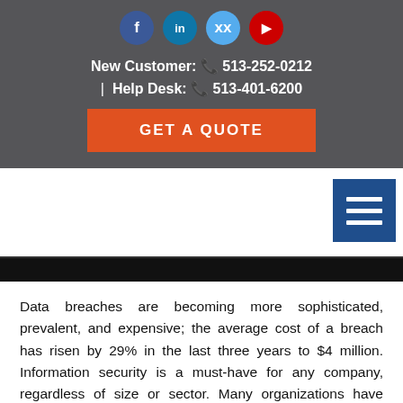Social icons: Facebook, LinkedIn, Twitter, YouTube
New Customer: 513-252-0212 | Help Desk: 513-401-6200
GET A QUOTE
[Figure (screenshot): Hamburger/menu icon — three white horizontal bars on a blue square background]
[Figure (photo): Dark image strip partially visible at bottom of nav area]
Data breaches are becoming more sophisticated, prevalent, and expensive; the average cost of a breach has risen by 29% in the last three years to $4 million. Information security is a must-have for any company, regardless of size or sector. Many organizations have chosen to outsource part or all of